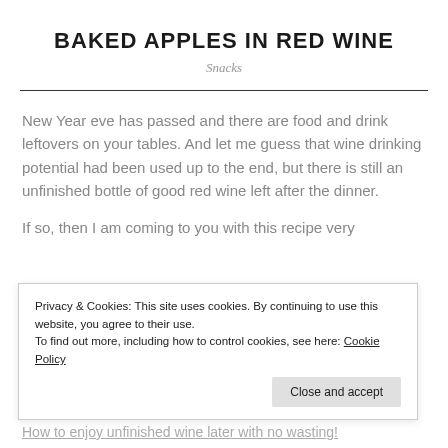BAKED APPLES IN RED WINE
Snacks
New Year eve has passed and there are food and drink leftovers on your tables. And let me guess that wine drinking potential had been used up to the end, but there is still an unfinished bottle of good red wine left after the dinner.
If so, then I am coming to you with this recipe very
Privacy & Cookies: This site uses cookies. By continuing to use this website, you agree to their use.
To find out more, including how to control cookies, see here: Cookie Policy
How to enjoy unfinished wine later with no wasting!